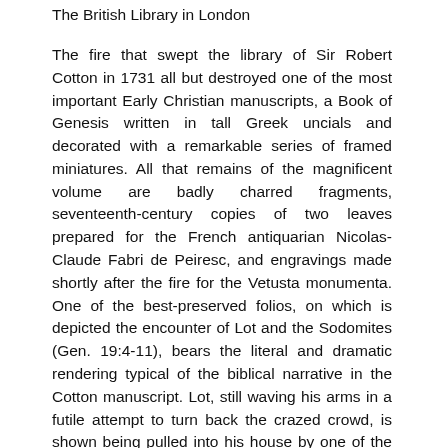The British Library in London
The fire that swept the library of Sir Robert Cotton in 1731 all but destroyed one of the most important Early Christian manuscripts, a Book of Genesis written in tall Greek uncials and decorated with a remarkable series of framed miniatures. All that remains of the magnificent volume are badly charred fragments, seventeenth-century copies of two leaves prepared for the French antiquarian Nicolas-Claude Fabri de Peiresc, and engravings made shortly after the fire for the Vetusta monumenta. One of the best-preserved folios, on which is depicted the encounter of Lot and the Sodomites (Gen. 19:4-11), bears the literal and dramatic rendering typical of the biblical narrative in the Cotton manuscript. Lot, still waving his arms in a futile attempt to turn back the crazed crowd, is shown being pulled into his house by one of the angels he is trying to protect. The action is conveyed by robust, well-articulated figures and is set in a receding space. The Cotton manuscript originally contained approximately 330